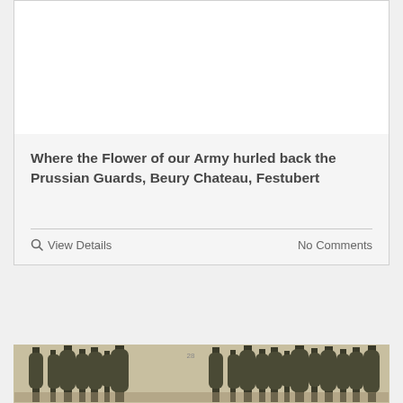[Figure (photo): Top portion of a card showing a white/blank image area with a border]
Where the Flower of our Army hurled back the Prussian Guards, Beury Chateau, Festubert
View Details
No Comments
[Figure (photo): Stereoscopic photograph showing tall poplar trees, labeled '28', sepia-toned, partially cropped at bottom of page]